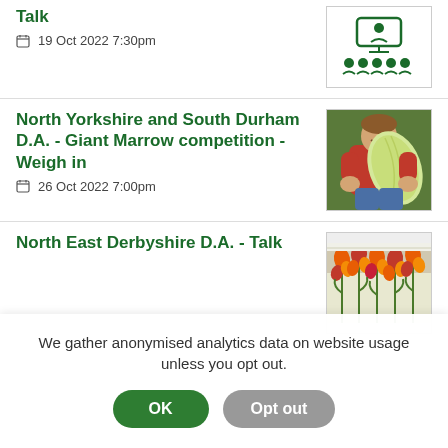Talk
19 Oct 2022 7:30pm
[Figure (illustration): Green icon showing online meeting: a screen/monitor with a presenter icon and a row of audience person icons below]
North Yorkshire and South Durham D.A. - Giant Marrow competition - Weigh in
26 Oct 2022 7:00pm
[Figure (photo): Person in red shirt holding a very large pale green/yellow marrow/vegetable]
North East Derbyshire D.A. - Talk
[Figure (photo): Orange and red flowers (gladioli) in bloom against a light background]
We gather anonymised analytics data on website usage unless you opt out.
OK
Opt out